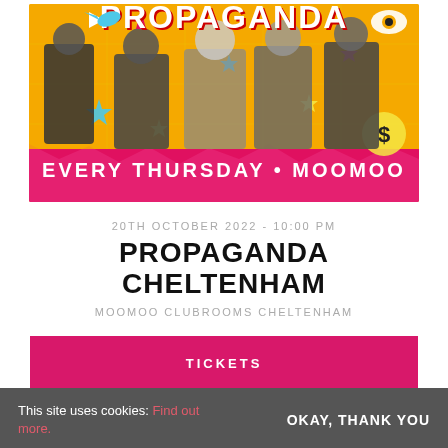[Figure (illustration): Propaganda club night promotional banner showing punk/rock styled people against a colorful yellow, orange, and pink background with stars and graphic elements. Text reads 'Propaganda' at top and 'EVERY THURSDAY • MOOMOO' at the bottom of the image.]
20TH OCTOBER 2022 - 10:00 PM
PROPAGANDA CHELTENHAM
MOOMOO CLUBROOMS CHELTENHAM
TICKETS
This site uses cookies: Find out more.
OKAY, THANK YOU